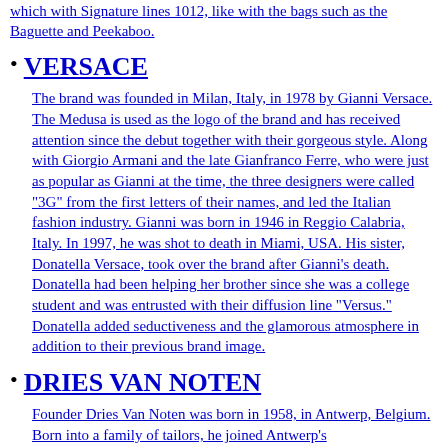which with Signature lines 1012, like with the bags such as the Baguette and Peekaboo.
VERSACE
The brand was founded in Milan, Italy, in 1978 by Gianni Versace. The Medusa is used as the logo of the brand and has received attention since the debut together with their gorgeous style. Along with Giorgio Armani and the late Gianfranco Ferre, who were just as popular as Gianni at the time, the three designers were called “3G” from the first letters of their names, and led the Italian fashion industry. Gianni was born in 1946 in Reggio Calabria, Italy. In 1997, he was shot to death in Miami, USA. His sister, Donatella Versace, took over the brand after Gianni’s death. Donatella had been helping her brother since she was a college student and was entrusted with their diffusion line “Versus.” Donatella added seductiveness and the glamorous atmosphere in addition to their previous brand image.
DRIES VAN NOTEN
Founder Dries Van Noten was born in 1958, in Antwerp, Belgium. Born into a family of tailors, he joined Antwerp’s